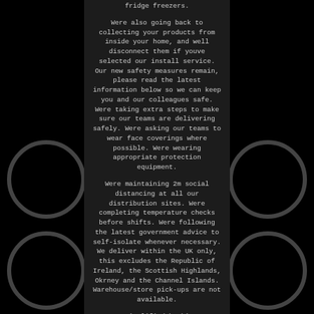fridge freezers.
Were also going back to collecting your products from inside your home, and well disconnect them if youve selected our install service. Our new safety measures remain, please read the latest information below so we can keep you and our colleagues safe. Were taking extra steps to make sure our teams are delivering safely. Were asking our teams to wear face coverings where possible. Were wearing appropriate protection equipment.
Were maintaining 2m social distancing at all our distribution sites. Were completing temperature checks before shifts. Were following the latest government advice to self-isolate whenever necessary. We deliver within the UK only, this excludes the Republic of Ireland, the Scottish Highlands, Okrney and the Channel Islands. Warehouse/store pick-ups are not available.
Weve simplified booking an Installation or Recycling for you, theres no longer any need to message us to request these services. Installation is only available for Big Box Appliances & Electricals. Remove & Recycle your old product. Were also updating our recycling service. If its safe for us to do, well collect your old appliances from inside